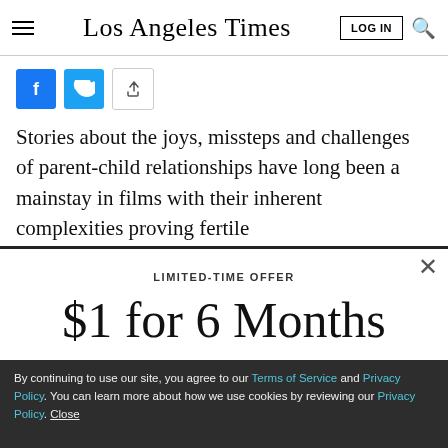Los Angeles Times
[Figure (screenshot): Social sharing buttons: Facebook, Twitter, and share icon]
Stories about the joys, missteps and challenges of parent-child relationships have long been a mainstay in films with their inherent complexities proving fertile
LIMITED-TIME OFFER
$1 for 6 Months
SUBSCRIBE NOW
By continuing to use our site, you agree to our Terms of Service and Privacy Policy. You can learn more about how we use cookies by reviewing our Privacy Policy. Close